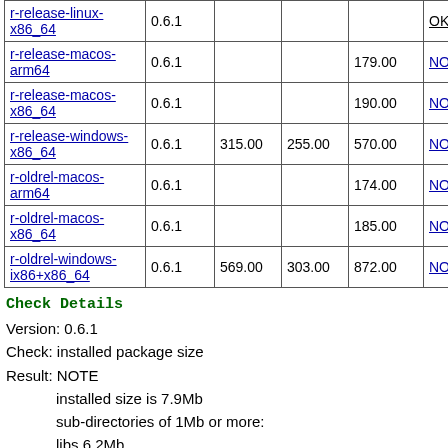|  |  |  |  |  |  |  |
| --- | --- | --- | --- | --- | --- | --- |
| r-release-linux-x86_64 | 0.6.1 |  |  |  | OK |  |
| r-release-macos-arm64 | 0.6.1 |  |  | 179.00 | NOTE |  |
| r-release-macos-x86_64 | 0.6.1 |  |  | 190.00 | NOTE |  |
| r-release-windows-x86_64 | 0.6.1 | 315.00 | 255.00 | 570.00 | NOTE |  |
| r-oldrel-macos-arm64 | 0.6.1 |  |  | 174.00 | NOTE |  |
| r-oldrel-macos-x86_64 | 0.6.1 |  |  | 185.00 | NOTE |  |
| r-oldrel-windows-ix86+x86_64 | 0.6.1 | 569.00 | 303.00 | 872.00 | NOTE |  |
Check Details
Version: 0.6.1
Check: installed package size
Result: NOTE
    installed size is 7.9Mb
    sub-directories of 1Mb or more:
    libs 6.2Mb
Flavors: r-devel-linux-x86_64-fedora-clang, r-devel-windows-x...